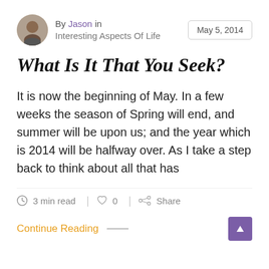By Jason in Interesting Aspects Of Life | May 5, 2014
What Is It That You Seek?
It is now the beginning of May. In a few weeks the season of Spring will end, and summer will be upon us; and the year which is 2014 will be halfway over. As I take a step back to think about all that has
3 min read  |  0  |  Share
Continue Reading —